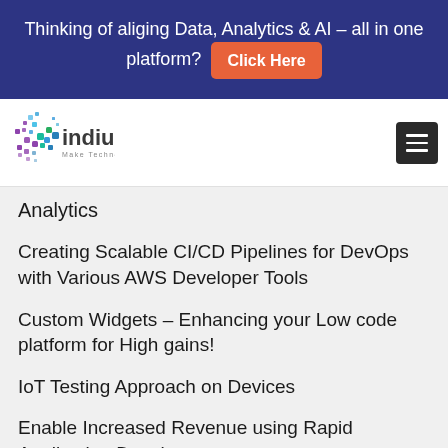Thinking of aliging Data, Analytics & AI – all in one platform? Click Here
[Figure (logo): Indium Software logo with colorful dot-grid X mark and text 'indium Make Technology Work']
Analytics
Creating Scalable CI/CD Pipelines for DevOps with Various AWS Developer Tools
Custom Widgets – Enhancing your Low code platform for High gains!
IoT Testing Approach on Devices
Enable Increased Revenue using Rapid Application Development